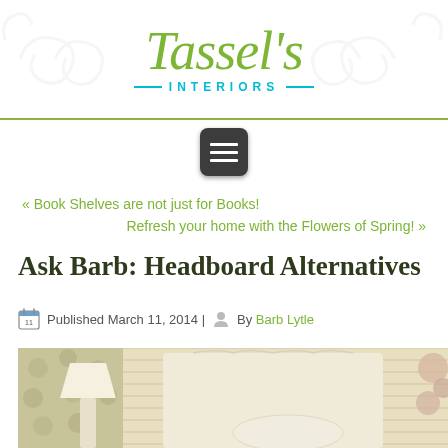[Figure (logo): Tassel's Interiors logo with green italic script text and teal 'INTERIORS' subtitle, decorative swirl background]
[Figure (other): Dark rounded square menu/hamburger button icon with three white horizontal lines]
« Book Shelves are not just for Books!
Refresh your home with the Flowers of Spring! »
Ask Barb: Headboard Alternatives
Published March 11, 2014 | By Barb Lytle
[Figure (photo): Bedroom interior photo showing a cream/white headboard with decorative carved detail, horizontal slatted wall panels, patterned wallpaper on left, white lamp, and floral accents on right]